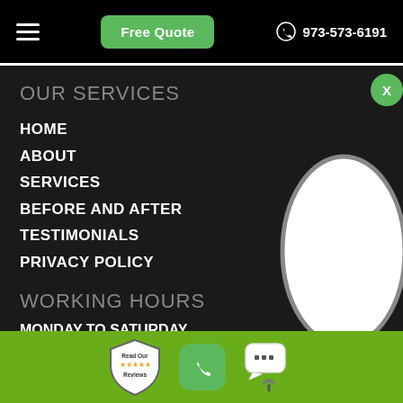Free Quote  973-573-6191
OUR SERVICES
HOME
ABOUT
SERVICES
BEFORE AND AFTER
TESTIMONIALS
PRIVACY POLICY
WORKING HOURS
MONDAY TO SATURDAY
From (6:00 AM To 11:00 PM)
[Figure (other): Oval shaped white image placeholder with grey border]
Read Our Reviews | phone button | chat button